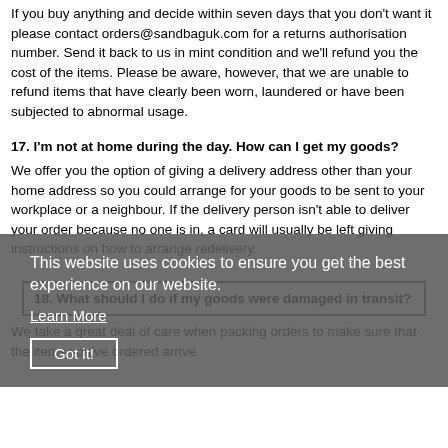If you buy anything and decide within seven days that you don't want it please contact orders@sandbaguk.com for a returns authorisation number. Send it back to us in mint condition and we'll refund you the cost of the items. Please be aware, however, that we are unable to refund items that have clearly been worn, laundered or have been subjected to abnormal usage.
17. I'm not at home during the day. How can I get my goods?
We offer you the option of giving a delivery address other than your home address so you could arrange for your goods to be sent to your workplace or a neighbour. If the delivery person isn't able to deliver your order because no one is in, a card will usually be left giving instructions on how to arrange redelivery.
18. What should I do if my goods were damaged in transit?
We take a great deal of care when packing orders to make sure that the items you've ordered arrive